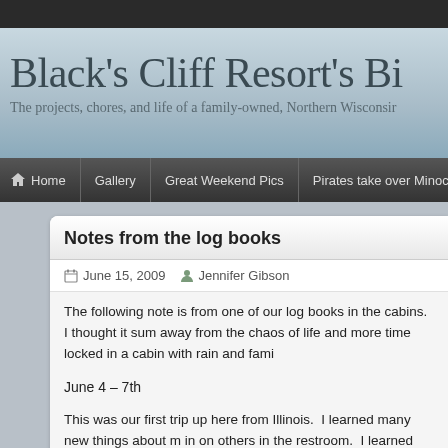Black's Cliff Resort's Bi...
The projects, chores, and life of a family-owned, Northern Wisconsi...
Home | Gallery | Great Weekend Pics | Pirates take over Minocqua
Notes from the log books
June 15, 2009   Jennifer Gibson
The following note is from one of our log books in the cabins.  I thought it sum... away from the chaos of life and more time locked in a cabin with rain and fami...
June 4 – 7th
This was our first trip up here from Illinois.  I learned many new things about m... in on others in the restroom.  I learned that one particular gentleman likes fudg... member of my family well be getting help for his snoring problem.  I learned wh... horse.  I relearned that I talk too much and keep others awake when I've been... banging against the dock at night sound like someone dribbling a basketball.  a... something to run with noise next time.  I learned that this is a beautiful place to...